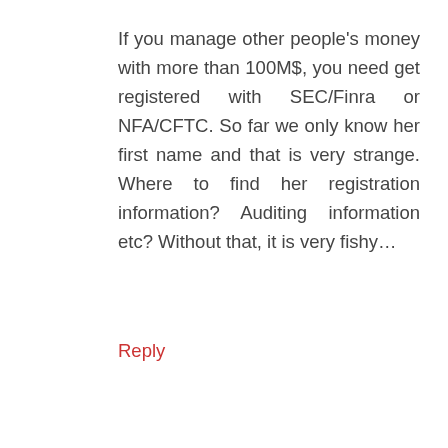If you manage other people's money with more than 100M$, you need get registered with SEC/Finra or NFA/CFTC. So far we only know her first name and that is very strange. Where to find her registration information? Auditing information etc? Without that, it is very fishy...
Reply
TANMAN777
Karen's last name is Bruton.
She has made so much money and continues to amass such good returns that she is sharing her wealth through